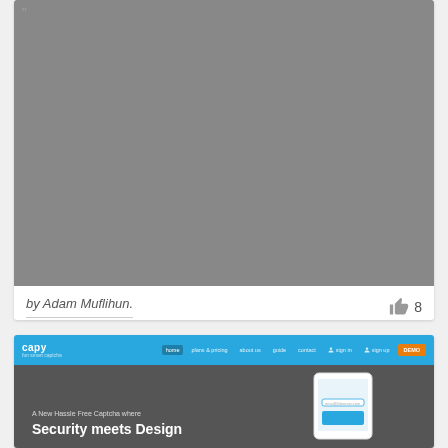[Figure (screenshot): Gray placeholder screenshot area at the top of a card]
by Adam Muflihun.
8
[Figure (screenshot): Screenshot of the Capy website showing the navigation bar with logo, nav links (home, plans & pricing, about us, guide, contact, sign in, sign up, DEMO), and the hero section with dark background and text: A New Hassle Free Captcha where Security meets Design]